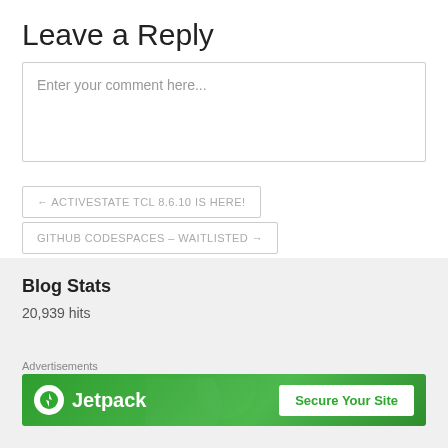Leave a Reply
Enter your comment here...
← ACTIVESTATE TCL 8.6.10 IS HERE!
GITHUB CODESPACES – WAITLISTED →
Blog Stats
20,939 hits
Advertisements
[Figure (other): Jetpack advertisement banner with logo and 'Secure Your Site' button on green background]